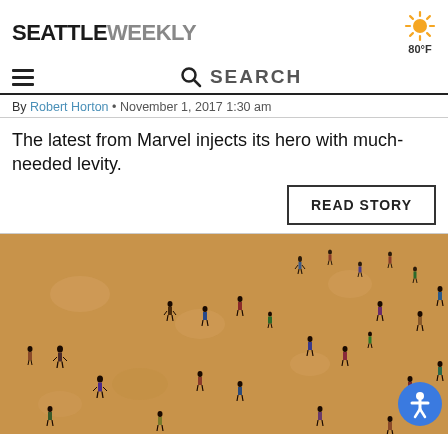SEATTLE WEEKLY
[Figure (infographic): Weather widget showing sun icon and 80°F temperature]
[Figure (infographic): Navigation bar with hamburger menu and search bar]
By Robert Horton • November 1, 2017 1:30 am
The latest from Marvel injects its hero with much-needed levity.
[Figure (other): READ STORY button]
[Figure (photo): Aerial view of many small figures of people scattered on a sandy/brown textured ground, viewed from above]